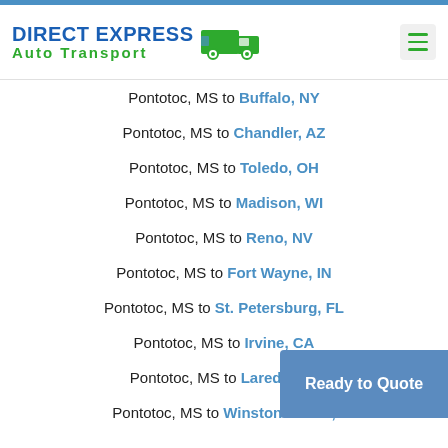DIRECT EXPRESS Auto Transport
Pontotoc, MS to Buffalo, NY
Pontotoc, MS to Chandler, AZ
Pontotoc, MS to Toledo, OH
Pontotoc, MS to Madison, WI
Pontotoc, MS to Reno, NV
Pontotoc, MS to Fort Wayne, IN
Pontotoc, MS to St. Petersburg, FL
Pontotoc, MS to Irvine, CA
Pontotoc, MS to Laredo, TX
Pontotoc, MS to Winston-Salem, ...